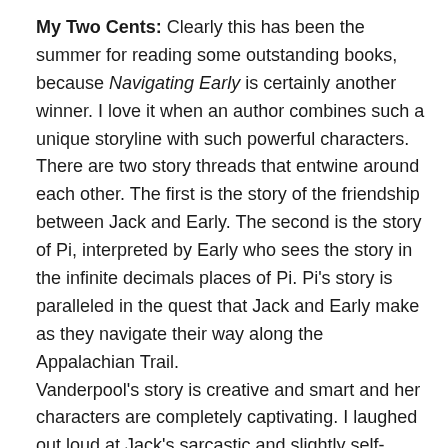My Two Cents: Clearly this has been the summer for reading some outstanding books, because Navigating Early is certainly another winner. I love it when an author combines such a unique storyline with such powerful characters. There are two story threads that entwine around each other. The first is the story of the friendship between Jack and Early. The second is the story of Pi, interpreted by Early who sees the story in the infinite decimals places of Pi. Pi's story is paralleled in the quest that Jack and Early make as they navigate their way along the Appalachian Trail.
Vanderpool's story is creative and smart and her characters are completely captivating. I laughed out loud at Jack's sarcastic and slightly self-deprecating sense of humor. Early is outwardly confusing, and eccentric, but as